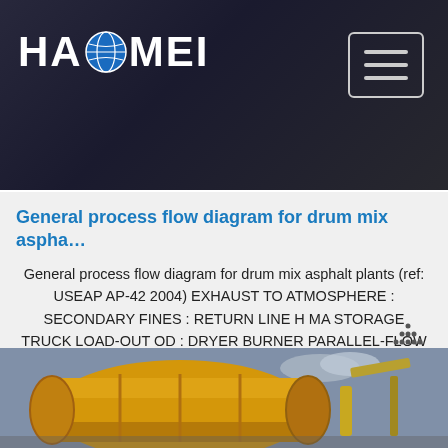[Figure (photo): Haomei company website header with dark background showing industrial machinery, company logo on left and hamburger menu button on right]
General process flow diagram for drum mix aspha...
General process flow diagram for drum mix asphalt plants (ref: USEAP AP-42 2004) EXHAUST TO ATMOSPHERE : SECONDARY FINES : RETURN LINE H MA STORAGE TRUCK LOAD-OUT OD : DRYER BURNER PARALLEL-FLOW DRUM MIXER (SCC 3-05-002-05) LOADER (SCC 3-05-002-04) EXHAUST OD RAP BIN & CONVEYOR ... ASPHALT CEMENT STORAGE (SCC 3-05-002-06 -07
[Figure (photo): Bottom image showing a yellow/orange drum mixer or dryer drum industrial equipment against a sky background]